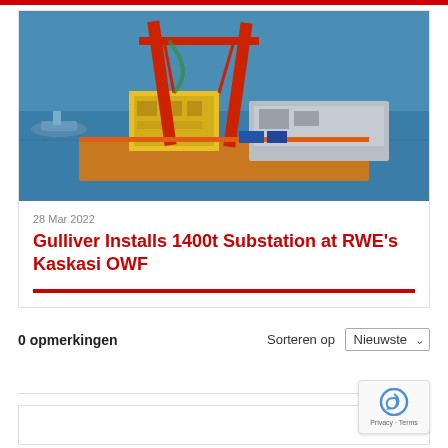[Figure (photo): Aerial photograph of a large heavy-lift crane vessel installing a yellow offshore substation platform at sea. Large red cranes visible, calm blue water, support vessel in background.]
28 Mar 2022
Gulliver Installs 1400t Substation at RWE's Kaskasi OWF
0 opmerkingen
Sorteren op Nieuwste